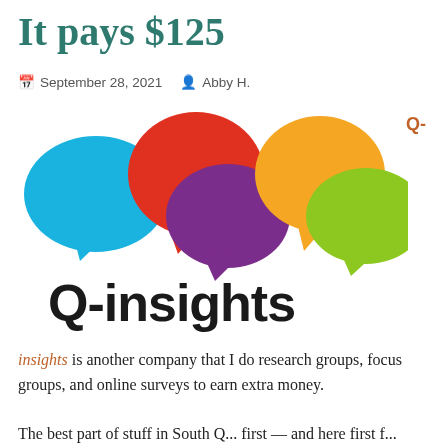It pays $125
September 28, 2021   Abby H.
[Figure (logo): Q-insights logo: five colorful speech bubble icons (blue, red, purple, orange, green) above bold text reading 'Q-insights']
insights is another company that I do research groups, focus groups, and online surveys to earn extra money.
The best part of stuff in South Q... first — and here first f...